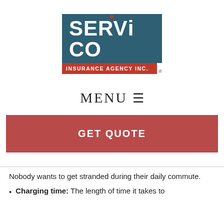[Figure (logo): Servico Insurance Agency Inc. logo with teal background for SERVICO text and red banner for INSURANCE AGENCY INC., with registered trademark symbol]
MENU ☰
GET QUOTE
Nobody wants to get stranded during their daily commute.
Charging time: The length of time it takes to